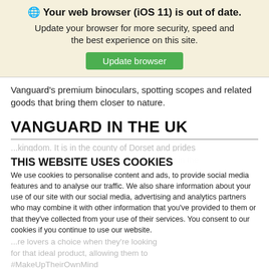🌐 Your web browser (iOS 11) is out of date. Update your browser for more security, speed and the best experience on this site.
Vanguard's premium binoculars, spotting scopes and related goods that bring them closer to nature.
VANGUARD IN THE UK
THIS WEBSITE USES COOKIES
We use cookies to personalise content and ads, to provide social media features and to analyse our traffic. We also share information about your use of our site with our social media, advertising and analytics partners who may combine it with other information that you've provided to them or that they've collected from your use of their services. You consent to our cookies if you continue to use our website.
Necessary  Preferences  Statistics  Marketing  Show details
GO TO OUR US STORE?  YES  NO